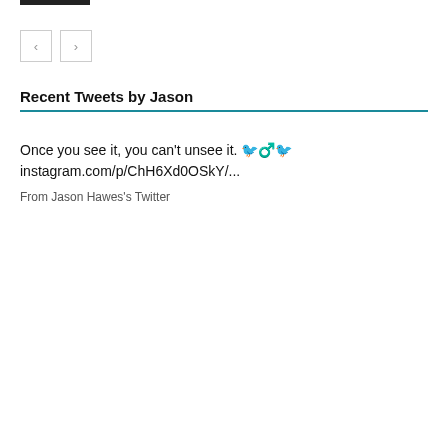[Figure (other): Dark navigation bar or logo strip at top left]
[Figure (other): Previous and next navigation buttons (left arrow and right arrow) in square outlines]
Recent Tweets by Jason
Once you see it, you can't unsee it. 🐦♂️🐦 instagram.com/p/ChH6Xd0OSkY/...
From Jason Hawes's Twitter